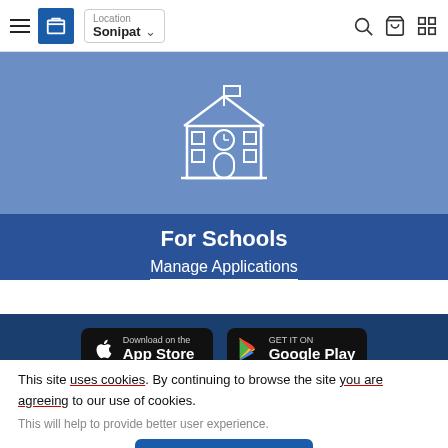Navigation bar with hamburger menu, UR logo, Location: Sonipat, search, cart, and grid icons
[Figure (illustration): School building icon (white outline) on a medium blue background]
For Schools
Manage Applications
[Figure (screenshot): App store download buttons: 'Download on the App Store' and 'GET IT ON Google Play' on dark navy background]
This site uses cookies. By continuing to browse the site you are agreeing to our use of cookies.
This will help to provide better user experience.
Ok, I Understand